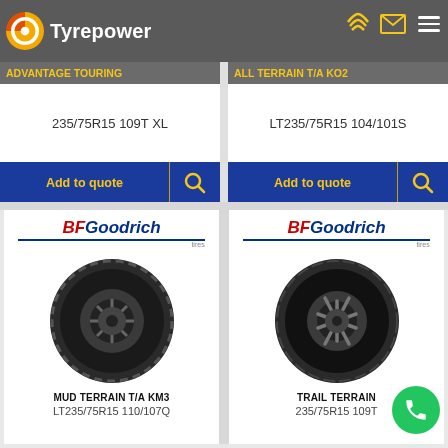Tyrepower
ADVANTAGE TOURING
235/75R15 109T XL
ALL TERRAIN T/A KO2
LT235/75R15 104/101S
[Figure (photo): BFGoodrich Mud Terrain T/A KM3 tire on black alloy wheel]
MUD TERRAIN T/A KM3
LT235/75R15 110/107Q
[Figure (photo): BFGoodrich Trail Terrain tire on black alloy wheel]
TRAIL TERRAIN
235/75R15 109T